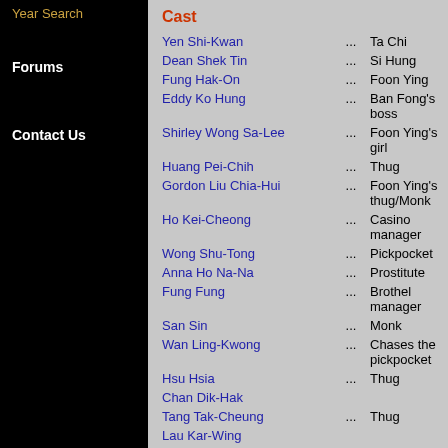Year Search
Forums
Contact Us
Cast
| Actor | ... | Role |
| --- | --- | --- |
| Yen Shi-Kwan | ... | Ta Chi |
| Dean Shek Tin | ... | Si Hung |
| Fung Hak-On | ... | Foon Ying |
| Eddy Ko Hung | ... | Ban Fong's boss |
| Shirley Wong Sa-Lee | ... | Foon Ying's girl |
| Huang Pei-Chih | ... | Thug |
| Gordon Liu Chia-Hui | ... | Foon Ying's thug/Monk |
| Ho Kei-Cheong | ... | Casino manager |
| Wong Shu-Tong | ... | Pickpocket |
| Anna Ho Na-Na | ... | Prostitute |
| Fung Fung | ... | Brothel manager |
| San Sin | ... | Monk |
| Wan Ling-Kwong | ... | Chases the pickpocket |
| Hsu Hsia | ... | Thug |
| Chan Dik-Hak |  |  |
| Tang Tak-Cheung | ... | Thug |
| Lau Kar-Wing |  |  |
| Chan Gon |  |  |